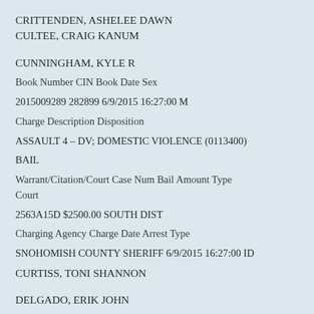CRITTENDEN, ASHELEE DAWN
CULTEE, CRAIG KANUM
CUNNINGHAM, KYLE R
Book Number CIN Book Date Sex
2015009289 282899 6/9/2015 16:27:00 M
Charge Description Disposition
ASSAULT 4 – DV; DOMESTIC VIOLENCE (0113400)
BAIL
Warrant/Citation/Court Case Num Bail Amount Type Court
2563A15D $2500.00 SOUTH DIST
Charging Agency Charge Date Arrest Type
SNOHOMISH COUNTY SHERIFF 6/9/2015 16:27:00 ID
CURTISS, TONI SHANNON
DELGADO, ERIK JOHN
Book Number CIN Book Date Sex
2015009287 823234 6/9/2015 16:10:00 M
Charge Description Disposition
RESIDENTIAL BURGLARY (0331000) NRAI